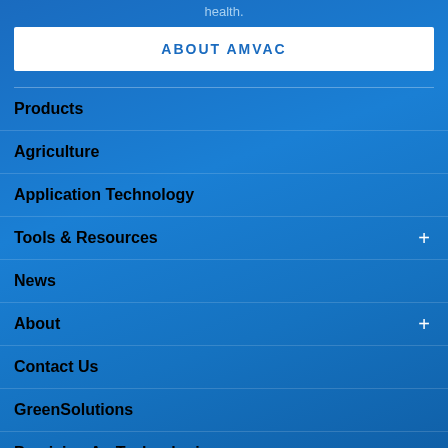health.
ABOUT AMVAC
Products
Agriculture
Application Technology
Tools & Resources
News
About
Contact Us
GreenSolutions
Precision Ag Technologies